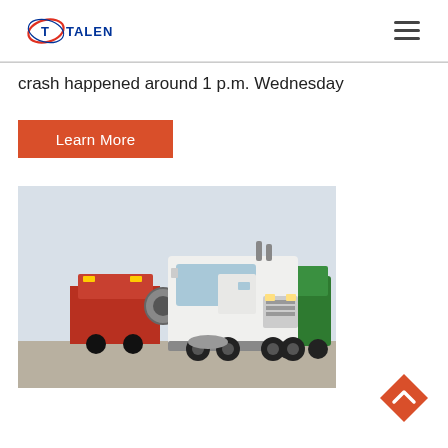TALENET
crash happened around 1 p.m. Wednesday
Learn More
[Figure (photo): Multiple heavy-duty trucks parked in a lot; a large white semi-truck cab is in the foreground, with red and green trucks visible behind it.]
[Figure (other): Orange diamond-shaped back-to-top navigation button with upward arrow chevron]